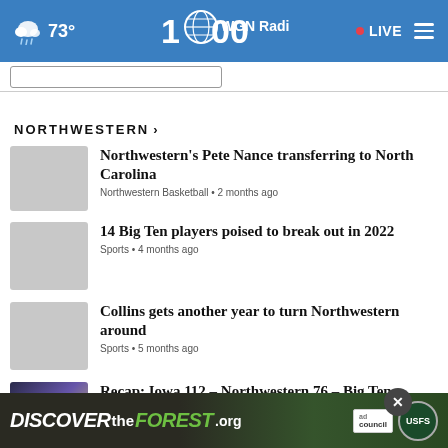73° WGN Radio 100 • LIVE
NORTHWESTERN ›
Northwestern's Pete Nance transferring to North Carolina — Northwestern Basketball • 2 months ago
14 Big Ten players poised to break out in 2022 — Sports • 4 months ago
Collins gets another year to turn Northwestern around — Sports • 5 months ago
Recap: Iowa 112 – Northwestern 76 – Big Ten Tournament
[Figure (screenshot): DISCOVERtheFOREST.org advertisement banner with Ad Council and US Forest Service logos]